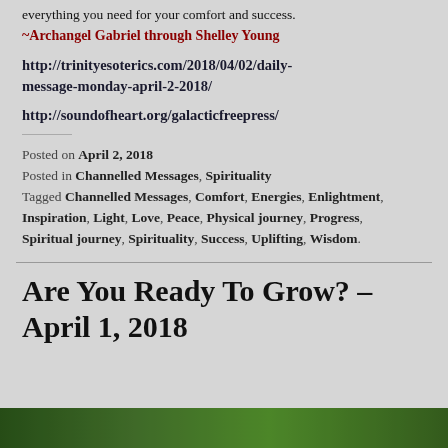everything you need for your comfort and success.
~Archangel Gabriel through Shelley Young
http://trinityesoterics.com/2018/04/02/daily-message-monday-april-2-2018/
http://soundofheart.org/galacticfreepress/
Posted on April 2, 2018
Posted in Channelled Messages, Spirituality
Tagged Channelled Messages, Comfort, Energies, Enlightment, Inspiration, Light, Love, Peace, Physical journey, Progress, Spiritual journey, Spirituality, Success, Uplifting, Wisdom.
Are You Ready To Grow? – April 1, 2018
[Figure (photo): Green nature/landscape photo at the bottom of the page]